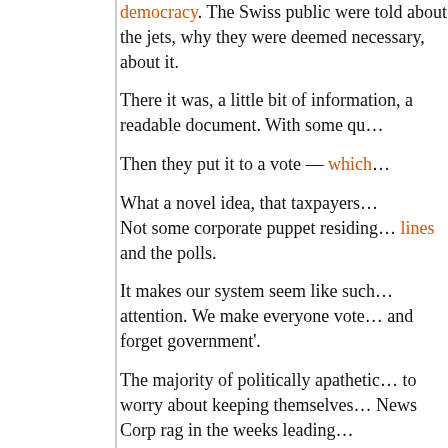democracy. The Swiss public were told about the jets, why they were deemed necessary, about it.
There it was, a little bit of information in a readable document. With some qu…
Then they put it to a vote — which…
What a novel idea, that taxpayers… Not some corporate puppet residing… lines and the polls.
It makes our system seem like such… attention. We make everyone vote… and forget government'.
The majority of politically apathetic… to worry about keeping themselves… News Corp rag in the weeks leading…
We must abolish compulsory voting…
We should give those who do care… moment, our voices simply aren't b… their heart and say they really wan… continues to do absolutely nothing…
So please, can we as a nation hav…